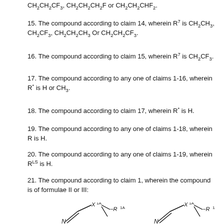CH2CH2CF3, CH2CH2CH2F or CH2CH2CHF2.
15. The compound according to claim 14, wherein R7 is CH2CH3, CH2CF3, CH2CH2CH3 Or CH2CH2CF3.
16. The compound according to claim 15, wherein R7 is CH2CF3.
17. The compound according to any one of claims 1-16, wherein R* is H or CH3.
18. The compound according to claim 17, wherein R* is H.
19. The compound according to any one of claims 1-18, wherein R is H.
20. The compound according to any one of claims 1-19, wherein RLS is H.
21. The compound according to claim 1, wherein the compound is of formulae II or III:
[Figure (chemistry-diagram): Two structural chemical formulae (II and III) showing bicyclic ring systems with substituents X1A and R1A, with nitrogen atom in ring, partial structures shown at bottom of page.]